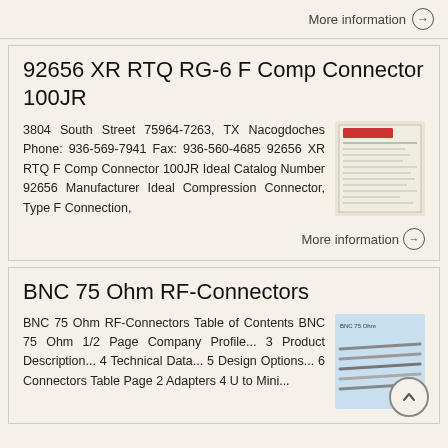More information →
92656 XR RTQ RG-6 F Comp Connector 100JR
3804 South Street 75964-7263, TX Nacogdoches Phone: 936-569-7941 Fax: 936-560-4685 92656 XR RTQ F Comp Connector 100JR Ideal Catalog Number 92656 Manufacturer Ideal Compression Connector, Type F Connection,
[Figure (photo): Document/datasheet image for 92656 XR RTQ connector product]
More information →
BNC 75 Ohm RF-Connectors
BNC 75 Ohm RF-Connectors Table of Contents BNC 75 Ohm 1/2 Page Company Profile... 3 Product Description... 4 Technical Data... 5 Design Options... 6 Connectors Table Page 2 Adapters 4 U to Mini...
[Figure (photo): BNC 75 Ohm RF-Connectors document cover image]